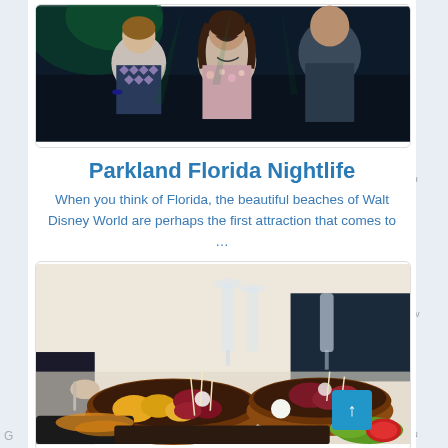[Figure (photo): People dancing and celebrating at a nightclub with green lighting]
Parkland Florida Nightlife
When you think of Florida, the beautiful beaches of Walt Disney World are perhaps the first attraction that comes to …
[Figure (photo): Food spread on a restaurant table with tapas dishes including octopus and potatoes, wine glasses in background]